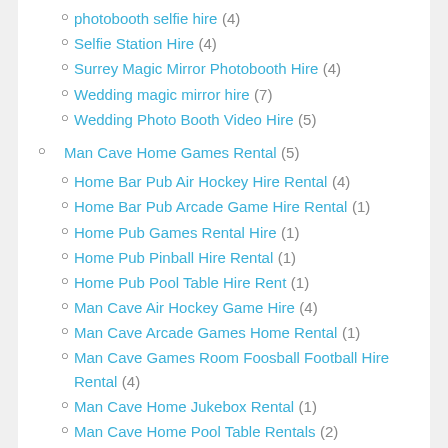photobooth selfie hire (4)
Selfie Station Hire (4)
Surrey Magic Mirror Photobooth Hire (4)
Wedding magic mirror hire (7)
Wedding Photo Booth Video Hire (5)
Man Cave Home Games Rental (5)
Home Bar Pub Air Hockey Hire Rental (4)
Home Bar Pub Arcade Game Hire Rental (1)
Home Pub Games Rental Hire (1)
Home Pub Pinball Hire Rental (1)
Home Pub Pool Table Hire Rent (1)
Man Cave Air Hockey Game Hire (4)
Man Cave Arcade Games Home Rental (1)
Man Cave Games Room Foosball Football Hire Rental (4)
Man Cave Home Jukebox Rental (1)
Man Cave Home Pool Table Rentals (2)
Man Cave Pinball Home Rental Hire (1)